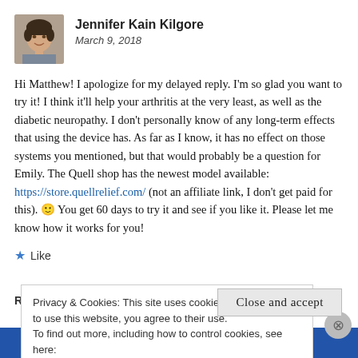[Figure (photo): Avatar photo of Jennifer Kain Kilgore, a woman with short dark hair, smiling, in a small square thumbnail]
Jennifer Kain Kilgore
March 9, 2018
Hi Matthew! I apologize for my delayed reply. I'm so glad you want to try it! I think it'll help your arthritis at the very least, as well as the diabetic neuropathy. I don't personally know of any long-term effects that using the device has. As far as I know, it has no effect on those systems you mentioned, but that would probably be a question for Emily. The Quell shop has the newest model available: https://store.quellrelief.com/ (not an affiliate link, I don't get paid for this). 🙂 You get 60 days to try it and see if you like it. Please let me know how it works for you!
★ Like
Privacy & Cookies: This site uses cookies. By continuing to use this website, you agree to their use.
To find out more, including how to control cookies, see here:
Cookie Policy
Close and accept